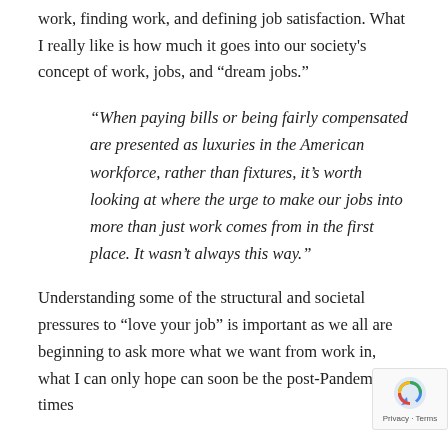work, finding work, and defining job satisfaction. What I really like is how much it goes into our society's concept of work, jobs, and “dream jobs.”
“When paying bills or being fairly compensated are presented as luxuries in the American workforce, rather than fixtures, it’s worth looking at where the urge to make our jobs into more than just work comes from in the first place. It wasn’t always this way.”
Understanding some of the structural and societal pressures to “love your job” is important as we all are beginning to ask more what we want from work in, what I can only hope can soon be the post-Pandemic times